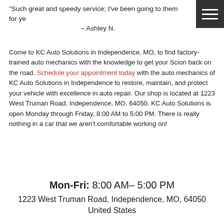“Such great and speedy service; I’ve been going to them for ye… – Ashley N.
Come to KC Auto Solutions in Independence, MO, to find factory-trained auto mechanics with the knowledge to get your Scion back on the road. Schedule your appointment today with the auto mechanics of KC Auto Solutions in Independence to restore, maintain, and protect your vehicle with excellence in auto repair. Our shop is located at 1223 West Truman Road, Independence, MO, 64050. KC Auto Solutions is open Monday through Friday, 8:00 AM to 5:00 PM. There is really nothing in a car that we aren’t comfortable working on!
Mon-Fri: 8:00 AM– 5:00 PM
1223 West Truman Road, Independence, MO, 64050
United States